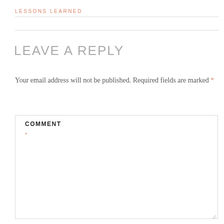LESSONS LEARNED
LEAVE A REPLY
Your email address will not be published. Required fields are marked *
COMMENT *